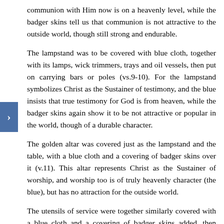communion with Him now is on a heavenly level, while the badger skins tell us that communion is not attractive to the outside world, though still strong and endurable.
The lampstand was to be covered with blue cloth, together with its lamps, wick trimmers, trays and oil vessels, then put on carrying bars or poles (vs.9-10). For the lampstand symbolizes Christ as the Sustainer of testimony, and the blue insists that true testimony for God is from heaven, while the badger skins again show it to be not attractive or popular in the world, though of a durable character.
The golden altar was covered just as the lampstand and the table, with a blue cloth and a covering of badger skins over it (v.11). This altar represents Christ as the Sustainer of worship, and worship too is of truly heavenly character (the blue), but has no attraction for the outside world.
The utensils of service were together similarly covered with a blue cloth and a covering of badger skins added, then placed on carrying bars (v.12). The same truths